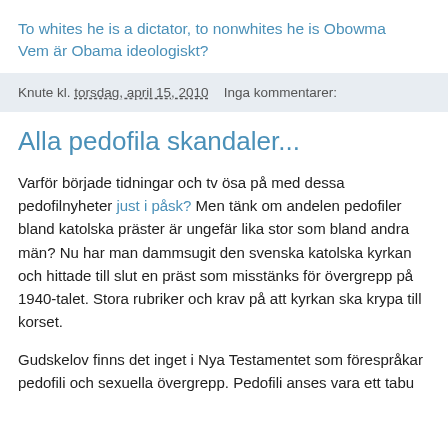To whites he is a dictator, to nonwhites he is Obowma
Vem är Obama ideologiskt?
Knute kl. torsdag, april 15, 2010   Inga kommentarer:
Alla pedofila skandaler...
Varför började tidningar och tv ösa på med dessa pedofilnyheter just i påsk? Men tänk om andelen pedofiler bland katolska präster är ungefär lika stor som bland andra män? Nu har man dammsugit den svenska katolska kyrkan och hittade till slut en präst som misstänks för övergrepp på 1940-talet. Stora rubriker och krav på att kyrkan ska krypa till korset.
Gudskelov finns det inget i Nya Testamentet som förespråkar pedofili och sexuella övergrepp. Pedofili anses vara ett tabu